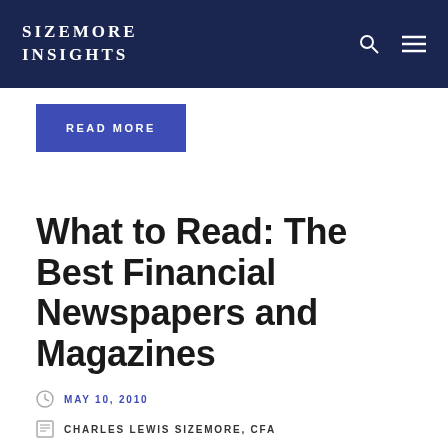SIZEMORE INSIGHTS
READ MORE
What to Read: The Best Financial Newspapers and Magazines
MAY 10, 2010
CHARLES LEWIS SIZEMORE, CFA